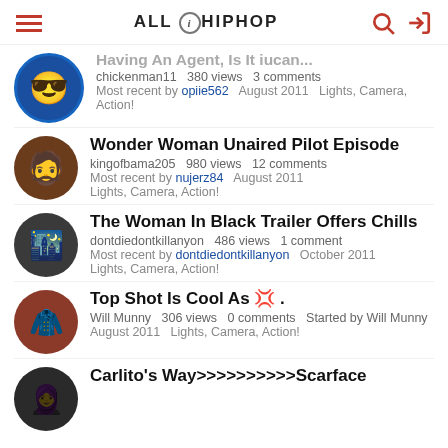ALL HIP HOP
Having An Agent, Is It iucan... | chickenman11 | 380 views | 3 comments | Most recent by opiie562 | August 2011 | Lights, Camera, Action!
Wonder Woman Unaired Pilot Episode | kingofbama205 | 980 views | 12 comments | Most recent by nujerz84 | August 2011 | Lights, Camera, Action!
The Woman In Black Trailer Offers Chills | dontdiedontkillanyon | 486 views | 1 comment | Most recent by dontdiedontkillanyon | October 2011 | Lights, Camera, Action!
Top Shot Is Cool As 💢 . | Will Munny | 306 views | 0 comments | Started by Will Munny | August 2011 | Lights, Camera, Action!
Carlito's Way>>>>>>>>>>Scarface